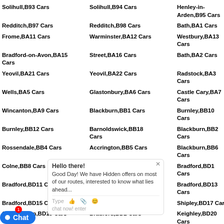Solihull,B93 Cars
Solihull,B94 Cars
Henley-in-Arden,B95 Cars
Redditch,B97 Cars
Redditch,B98 Cars
Bath,BA1 Cars
Frome,BA11 Cars
Warminster,BA12 Cars
Westbury,BA13 Cars
Bradford-on-Avon,BA15 Cars
Street,BA16 Cars
Bath,BA2 Cars
Yeovil,BA21 Cars
Yeovil,BA22 Cars
Radstock,BA3 Cars
Wells,BA5 Cars
Glastonbury,BA6 Cars
Castle Cary,BA7 Cars
Wincanton,BA9 Cars
Blackburn,BB1 Cars
Burnley,BB10 Cars
Burnley,BB12 Cars
Barnoldswick,BB18 Cars
Blackburn,BB2 Cars
Rossendale,BB4 Cars
Accrington,BB5 Cars
Blackburn,BB6 Cars
Colne,BB8 Cars
Nelson,BB9 Cars
Bradford,BD1 Cars
Bradford,BD11 Cars
Bradford,BD12 Cars
Bradford,BD13 Cars
Bradford,BD15 Cars
Bingley,BD16 Cars
Shipley,BD17 Cars
Cleckheaton,BD19 Cars
Bradford,BD2 Cars
Keighley,BD20 Cars
Keighley,BD22 Cars
Skipton-on-Swale,BD23 Cars
Settle,BD24 Cars
Bradford,BD4 Cars
Bradford,BD5 Cars
Bradford,BD6 Cars
Bradford,BD8 Cars
Bradford,BD9 Cars
Bournemouth,BH1 Cars